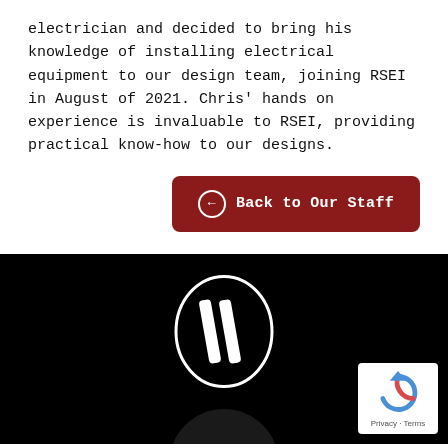electrician and decided to bring his knowledge of installing electrical equipment to our design team, joining RSEI in August of 2021. Chris' hands on experience is invaluable to RSEI, providing practical know-how to our designs.
[Figure (other): Dark red rounded button labeled 'Back to Our Staff' with a left-arrow circle icon on the left]
[Figure (logo): RSEI company logo in white on a black background — an oval shape with two diagonal parallel stripes inside]
[Figure (other): Google reCAPTCHA badge with the reCAPTCHA logo (circular arrow icon) and 'Privacy - Terms' text, white background in bottom-right corner]